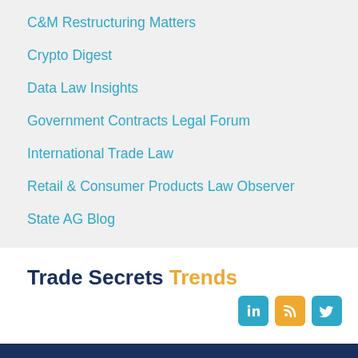C&M Restructuring Matters
Crypto Digest
Data Law Insights
Government Contracts Legal Forum
International Trade Law
Retail & Consumer Products Law Observer
State AG Blog
Trade Secrets Trends
[Figure (infographic): Social media icons: LinkedIn (blue), RSS (orange), Twitter (blue)]